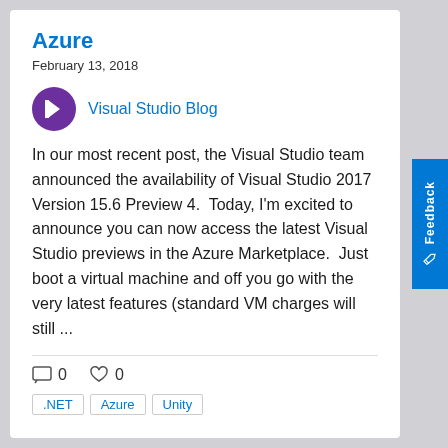Azure
February 13, 2018
Visual Studio Blog
In our most recent post, the Visual Studio team announced the availability of Visual Studio 2017 Version 15.6 Preview 4.  Today, I'm excited to announce you can now access the latest Visual Studio previews in the Azure Marketplace.  Just boot a virtual machine and off you go with the very latest features (standard VM charges will still ...
0  0
.NET  Azure  Unity